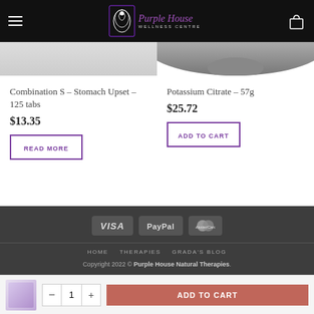Purple House Wellness Centre
Combination S – Stomach Upset – 125 tabs
$13.35
READ MORE
Potassium Citrate – 57g
$25.72
ADD TO CART
[Figure (logo): VISA, PayPal, MasterCard payment icons]
HOME  THERAPIES  GRADA'S BLOG
Copyright 2022 © Purple House Natural Therapies.
- 1 + ADD TO CART